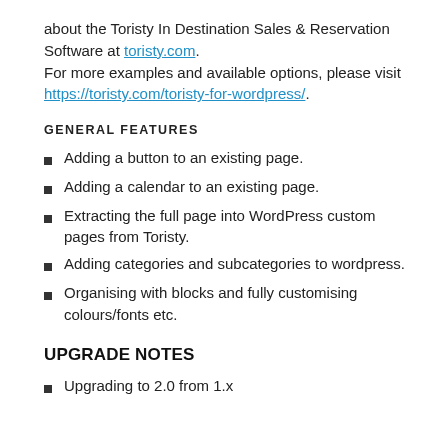about the Toristy In Destination Sales & Reservation Software at toristy.com.
For more examples and available options, please visit https://toristy.com/toristy-for-wordpress/.
GENERAL FEATURES
Adding a button to an existing page.
Adding a calendar to an existing page.
Extracting the full page into WordPress custom pages from Toristy.
Adding categories and subcategories to wordpress.
Organising with blocks and fully customising colours/fonts etc.
UPGRADE NOTES
Upgrading to 2.0 from 1.x